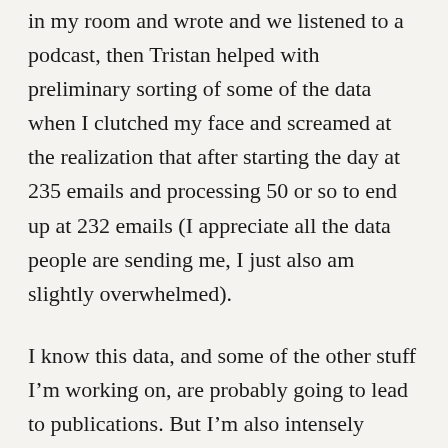in my room and wrote and we listened to a podcast, then Tristan helped with preliminary sorting of some of the data when I clutched my face and screamed at the realization that after starting the day at 235 emails and processing 50 or so to end up at 232 emails (I appreciate all the data people are sending me, I just also am slightly overwhelmed).
I know this data, and some of the other stuff I’m working on, are probably going to lead to publications. But I’m also intensely aware of just how much privilege and deliberate ordering of my life and assistance from other people have gone into my ability to be productive. And I firmly believe